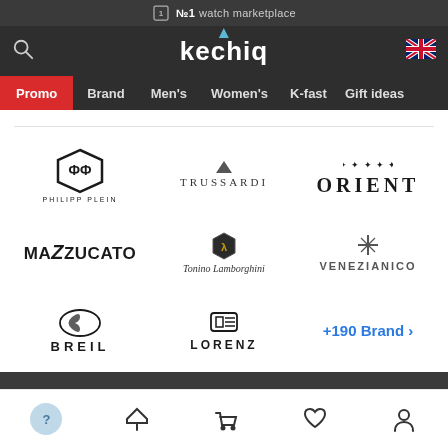№1 watch marketplace
[Figure (logo): Kechiq logo with blue drop accent]
[Figure (logo): UK flag icon]
Promo | Brand | Men's | Women's | K-fast | Gift ideas
[Figure (logo): Philipp Plein logo - hexagon PP monogram]
[Figure (logo): Trussardi logo]
[Figure (logo): Orient logo with ornate crown]
[Figure (logo): Mazzucato logo]
[Figure (logo): Tonino Lamborghini logo with shield]
[Figure (logo): Venezianico logo with cross]
[Figure (logo): Breil logo]
[Figure (logo): Lorenz logo]
+190 Brand ›
Bottom navigation bar with help, filter, cart, wishlist, account icons